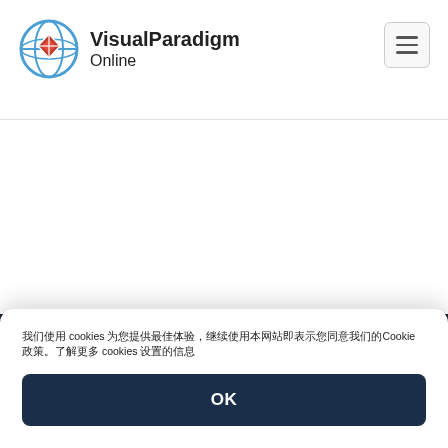Visual Paradigm Online
[Figure (logo): Visual Paradigm Online logo with globe and diamond icon]
[Figure (logo): Visual Paradigm Online footer logo (white globe and diamond icon on dark background)]
产品
我们使用 cookies 为您提供最佳体验，继续使用本网站即表示您同意我们的Cookie政策。了解更多 cookies 设置的信息
OK